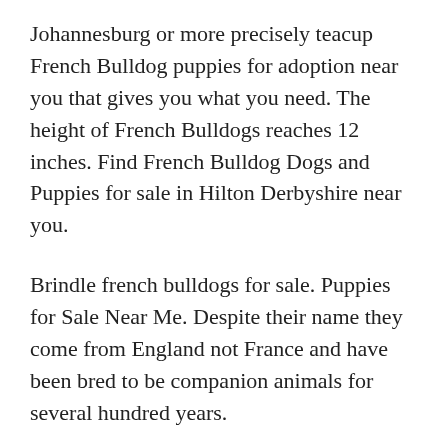Johannesburg or more precisely teacup French Bulldog puppies for adoption near you that gives you what you need. The height of French Bulldogs reaches 12 inches. Find French Bulldog Dogs and Puppies for sale in Hilton Derbyshire near you.
Brindle french bulldogs for sale. Puppies for Sale Near Me. Despite their name they come from England not France and have been bred to be companion animals for several hundred years.
In the near future we will also be breeding